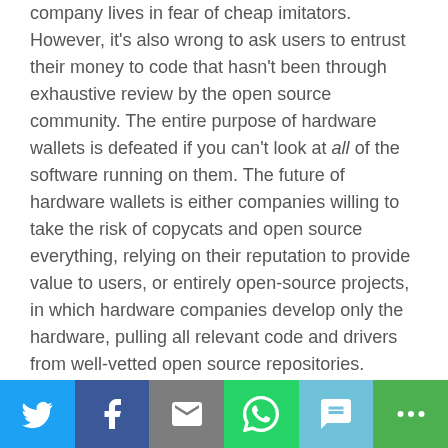company lives in fear of cheap imitators. However, it's also wrong to ask users to entrust their money to code that hasn't been through exhaustive review by the open source community. The entire purpose of hardware wallets is defeated if you can't look at all of the software running on them. The future of hardware wallets is either companies willing to take the risk of copycats and open source everything, relying on their reputation to provide value to users, or entirely open-source projects, in which hardware companies develop only the hardware, pulling all relevant code and drivers from well-vetted open source repositories.
These are not styles of business that the tech industry is accustomed to, but they are the only ones that are trustworthy and valuable in the long run.
[Figure (other): Social sharing bar with Twitter, Facebook, Email, WhatsApp, SMS, and More buttons]